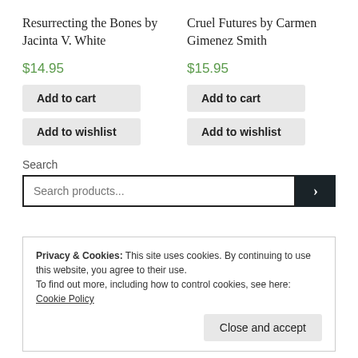Resurrecting the Bones by Jacinta V. White
$14.95
Add to cart
Add to wishlist
Cruel Futures by Carmen Gimenez Smith
$15.95
Add to cart
Add to wishlist
Search
Search products...
Privacy & Cookies: This site uses cookies. By continuing to use this website, you agree to their use.
To find out more, including how to control cookies, see here: Cookie Policy
Close and accept